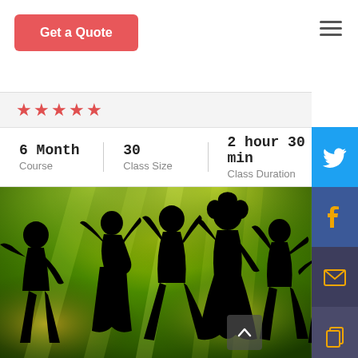Get a Quote
★★★★★
6 Month Course | 30 Class Size | 2 hour 30 min Class Duration
[Figure (photo): Silhouettes of people dancing against a green and yellow light beams background]